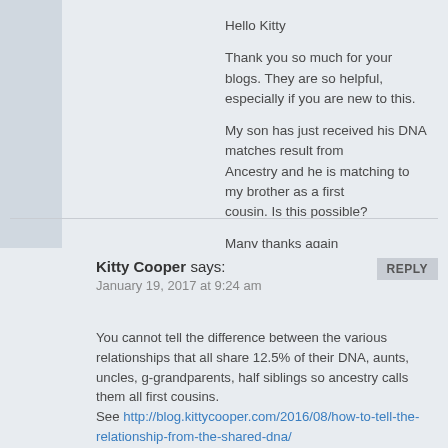Hello Kitty
Thank you so much for your blogs. They are so helpful, especially if you are new to this.
My son has just received his DNA matches result from Ancestry and he is matching to my brother as a first cousin. Is this possible?
Many thanks again
REPLY
Kitty Cooper says:
January 19, 2017 at 9:24 am
You cannot tell the difference between the various relationships that all share 12.5% of their DNA, aunts, uncles, g-grandparents, half siblings so ancestry calls them all first cousins. See http://blog.kittycooper.com/2016/08/how-to-tell-the-relationship-from-the-shared-dna/